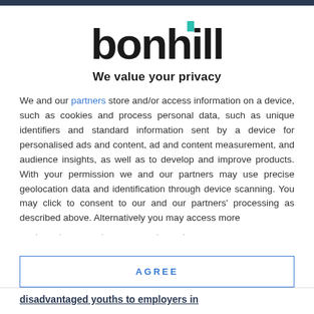[Figure (logo): Bonhill logo with teal accent on the letter 'i' dot]
We value your privacy
We and our partners store and/or access information on a device, such as cookies and process personal data, such as unique identifiers and standard information sent by a device for personalised ads and content, ad and content measurement, and audience insights, as well as to develop and improve products. With your permission we and our partners may use precise geolocation data and identification through device scanning. You may click to consent to our and our partners' processing as described above. Alternatively you may access more detailed information ...
AGREE
MORE OPTIONS
disadvantaged youths to employers in